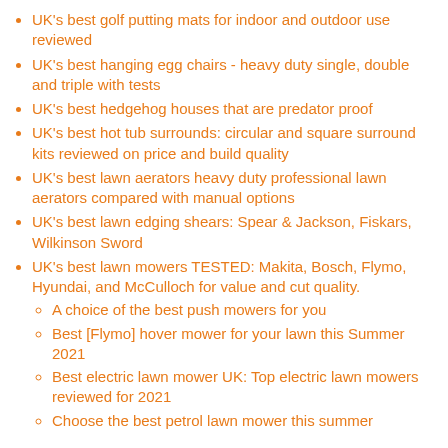UK's best golf putting mats for indoor and outdoor use reviewed
UK's best hanging egg chairs - heavy duty single, double and triple with tests
UK's best hedgehog houses that are predator proof
UK's best hot tub surrounds: circular and square surround kits reviewed on price and build quality
UK's best lawn aerators heavy duty professional lawn aerators compared with manual options
UK's best lawn edging shears: Spear & Jackson, Fiskars, Wilkinson Sword
UK's best lawn mowers TESTED: Makita, Bosch, Flymo, Hyundai, and McCulloch for value and cut quality.
A choice of the best push mowers for you
Best [Flymo] hover mower for your lawn this Summer 2021
Best electric lawn mower UK: Top electric lawn mowers reviewed for 2021
Choose the best petrol lawn mower this summer